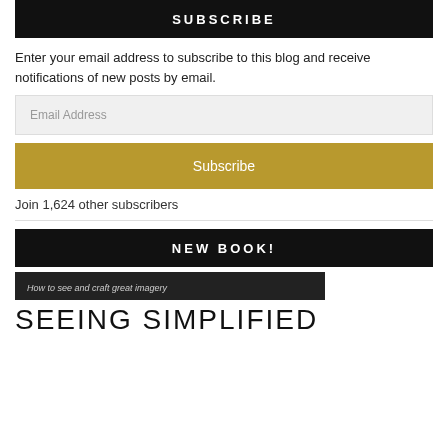SUBSCRIBE
Enter your email address to subscribe to this blog and receive notifications of new posts by email.
Email Address
Subscribe
Join 1,624 other subscribers
NEW BOOK!
How to see and craft great imagery
SEEING SIMPLIFIED